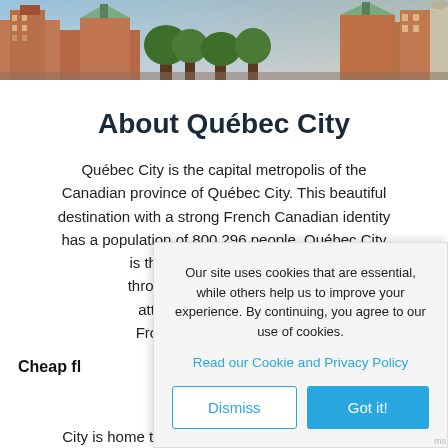[Figure (photo): Aerial/street-level photo of Québec City buildings at dusk/sunset, showing historic brick and stone architecture with trees]
About Québec City
Québec City is the capital metropolis of the Canadian province of Québec City. This beautiful destination with a strong French Canadian identity has a population of 800,296 people. Québec City is the c... through... attra... Fronte...
Cheap fl...
for a li... transport... City is home to Jean Lesage International Airport
Our site uses cookies that are essential, while others help us to improve your experience. By continuing, you agree to our use of cookies.
Read our Cookie and Privacy Policy
Dismiss    Got it!